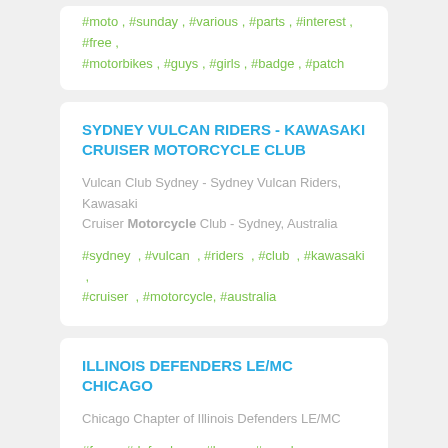#moto , #sunday , #various , #parts , #interest , #free , #motorbikes , #guys , #girls , #badge , #patch
SYDNEY VULCAN RIDERS - KAWASAKI CRUISER MOTORCYCLE CLUB
Vulcan Club Sydney - Sydney Vulcan Riders, Kawasaki Cruiser Motorcycle Club - Sydney, Australia
#sydney , #vulcan , #riders , #club , #kawasaki , #cruiser , #motorcycle, #australia
ILLINOIS DEFENDERS LE/MC CHICAGO
Chicago Chapter of Illinois Defenders LE/MC
#free , #defenders , #lemc , #members , #chicago , #chapter